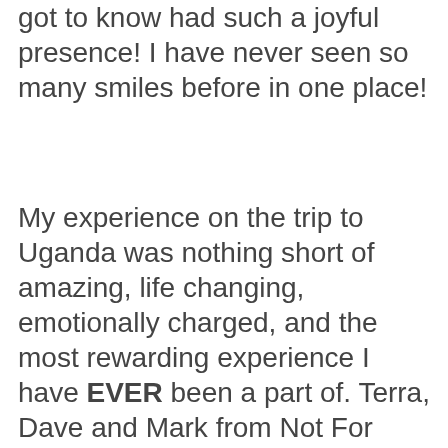got to know had such a joyful presence! I have never seen so many smiles before in one place!
My experience on the trip to Uganda was nothing short of amazing, life changing, emotionally charged, and the most rewarding experience I have EVER been a part of. Terra, Dave and Mark from Not For Sale are some of the most genuine and driven people. Their passion for what they do exudes and imprints on everyone they meet.